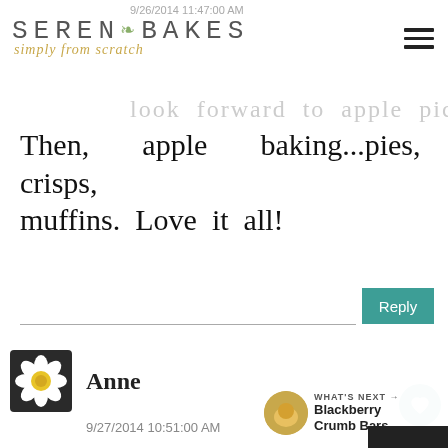9/26/2014 11:47:00 AM — Serena Bakes Simply from Scratch
look forward to apple picking.
Then, apple baking...pies, crisps, muffins. Love it all!
Reply
Anne
9/27/2014 10:51:00 AM
Apples! That's what I most look forward to in the autumn, no question about it. Sure, I lo...